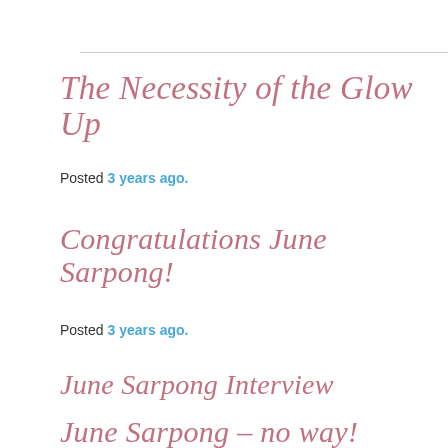The Necessity of the Glow Up
Posted 3 years ago.
Congratulations June Sarpong!
Posted 3 years ago.
June Sarpong Interview
Posted 3 years ago.
June Sarpong – no way!